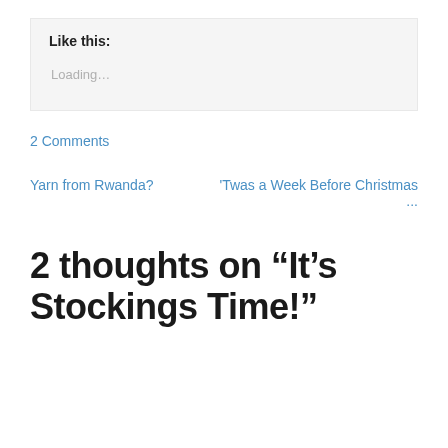Like this:
Loading…
2 Comments
Yarn from Rwanda?
'Twas a Week Before Christmas ...
2 thoughts on “It’s Stockings Time!”